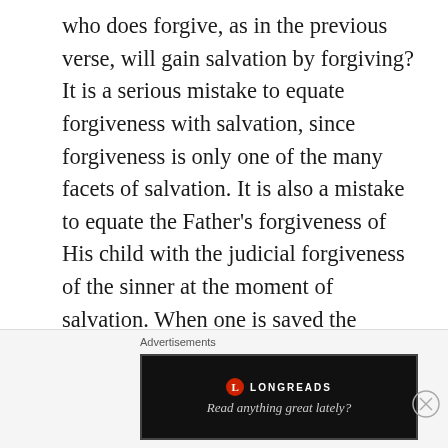who does forgive, as in the previous verse, will gain salvation by forgiving? It is a serious mistake to equate forgiveness with salvation, since forgiveness is only one of the many facets of salvation. It is also a mistake to equate the Father's forgiveness of His child with the judicial forgiveness of the sinner at the moment of salvation. When one is saved the judicial penalty is forgiven once for all. After one becomes a child of God he still has the possibility of sinning, and such sin has to be dealt with, either by the child of God or by the Father. If the child confesses it to the Father, it is forgiven, (1 John 1:9). If the
Advertisements
[Figure (other): Longreads advertisement banner with dark background, Longreads logo (red circle with L), and tagline 'Read anything great lately?']